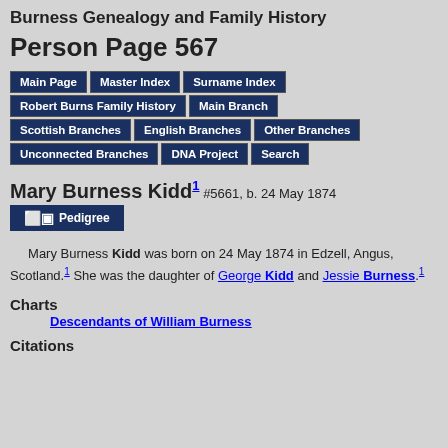Burness Genealogy and Family History
Person Page 567
Main Page
Master Index
Surname Index
Robert Burns Family History
Main Branch
Scottish Branches
English Branches
Other Branches
Unconnected Branches
DNA Project
Search
Mary Burness Kidd1
#5661, b. 24 May 1874
Pedigree
Mary Burness Kidd was born on 24 May 1874 in Edzell, Angus, Scotland.1 She was the daughter of George Kidd and Jessie Burness.1
Charts
Descendants of William Burness
Citations